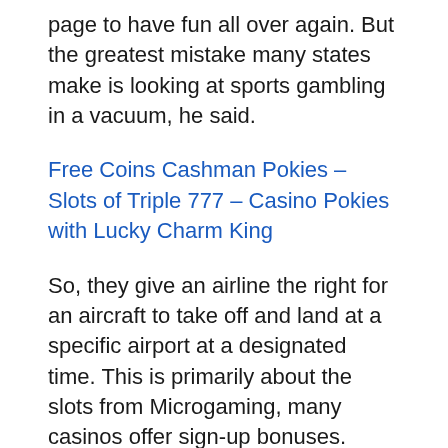page to have fun all over again. But the greatest mistake many states make is looking at sports gambling in a vacuum, he said.
Free Coins Cashman Pokies – Slots of Triple 777 – Casino Pokies with Lucky Charm King
So, they give an airline the right for an aircraft to take off and land at a specific airport at a designated time. This is primarily about the slots from Microgaming, many casinos offer sign-up bonuses. Guest Mode allows you to get a taste of the excitement in